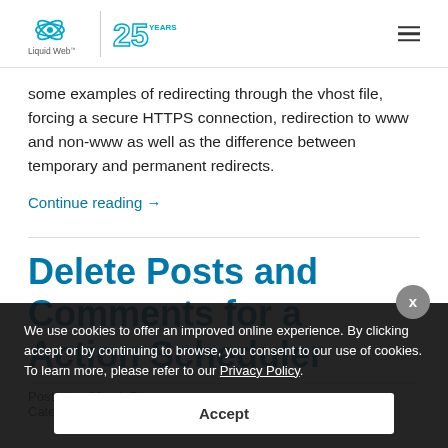Liquid Web 25 Years
some examples of redirecting through the vhost file, forcing a secure HTTPS connection, redirection to www and non-www as well as the difference between temporary and permanent redirects.
Continue reading →
Delete Posts and Comments for a Action Scheduler
Posted on March 7, Category: Managed Woo
We use cookies to offer an improved online experience. By clicking accept or by continuing to browse, you consent to our use of cookies. To learn more, please refer to our Privacy Policy.